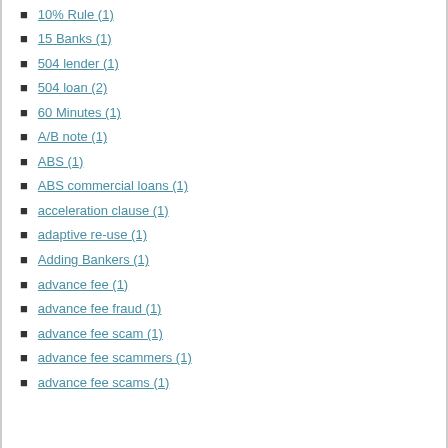10% Rule (1)
15 Banks (1)
504 lender (1)
504 loan (2)
60 Minutes (1)
A/B note (1)
ABS (1)
ABS commercial loans (1)
acceleration clause (1)
adaptive re-use (1)
Adding Bankers (1)
advance fee (1)
advance fee fraud (1)
advance fee scam (1)
advance fee scammers (1)
advance fee scams (1)